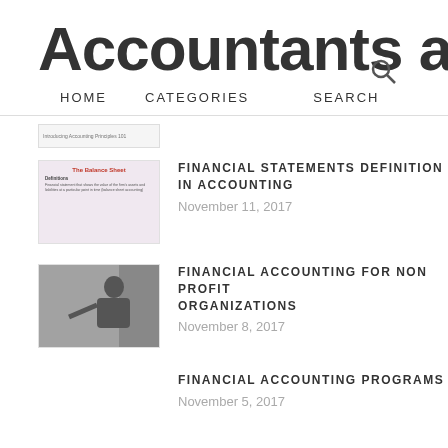Accountants a
HOME   CATEGORIES   SEARCH
[Figure (screenshot): Partial thumbnail of a page, cropped at top]
[Figure (screenshot): The Balance Sheet slide thumbnail]
FINANCIAL STATEMENTS DEFINITION IN ACCOUNTING
November 11, 2017
[Figure (photo): Person writing on a whiteboard]
FINANCIAL ACCOUNTING FOR NON PROFIT ORGANIZATIONS
November 8, 2017
FINANCIAL ACCOUNTING PROGRAMS
November 5, 2017